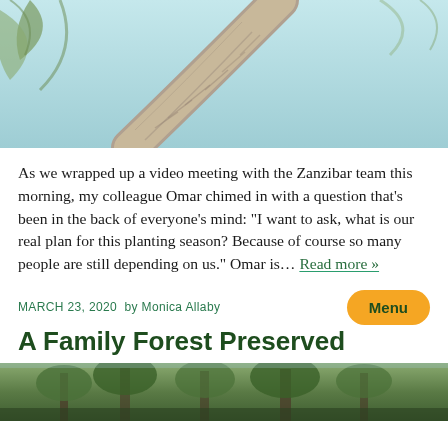[Figure (photo): Looking up a tall palm tree trunk against a light blue sky with palm fronds visible at top]
As we wrapped up a video meeting with the Zanzibar team this morning, my colleague Omar chimed in with a question that’s been in the back of everyone’s mind: “I want to ask, what is our real plan for this planting season? Because of course so many people are still depending on us.” Omar is… Read more »
MARCH 23, 2020  by Monica Allaby
A Family Forest Preserved
[Figure (photo): Forest scene with trees, view from below looking through the canopy]